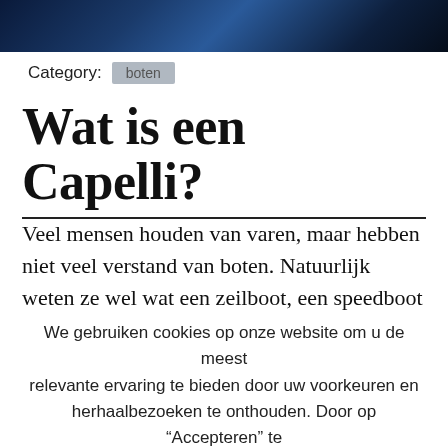[Figure (photo): Dark navy/blue gradient header banner image]
Category: boten
Wat is een Capelli?
Veel mensen houden van varen, maar hebben niet veel verstand van boten. Natuurlijk weten ze wel wat een zeilboot, een speedboot en een
We gebruiken cookies op onze website om u de meest relevante ervaring te bieden door uw voorkeuren en herhaalbezoeken te onthouden. Door op “Accepteren” te klikken, stemt u in met het gebruik van ALLE cookies.
Cookie instellingen  ACCEPTEREN